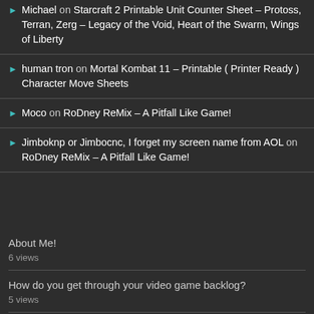Michael on Starcraft 2 Printable Unit Counter Sheet – Protoss, Terran, Zerg – Legacy of the Void, Heart of the Swarm, Wings of Liberty
human tron on Mortal Kombat 11 – Printable ( Printer Ready ) Character Move Sheets
Moco on RoDney ReMix – A Pitfall Like Game!
Jimboknp or Jimbocnc, I forget my screen name from AOL on RoDney ReMix – A Pitfall Like Game!
About Me!
6 views
How do you get through your video game backlog?
5 views
Final Fantasy XII ( 13 )Gush v-2!
4 views